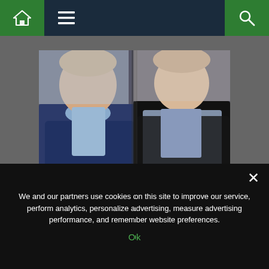Navigation bar with home, menu, and search icons
[Figure (photo): Two men side by side — left man in dark navy cardigan with hand raised to chin in thoughtful pose, right man in dark jacket with light blue shirt]
Bill Turnbull: ‘Dark times’ BBC presenter speaks on his ‘outlook’
Her ice skating glory did come at a cost however. Speaking to Mirror.co.uk in 2017, Jayne revealed she was diagnosed with asthma in her late 20s, and her asthma attacks were
We and our partners use cookies on this site to improve our service, perform analytics, personalize advertising, measure advertising performance, and remember website preferences.
Ok